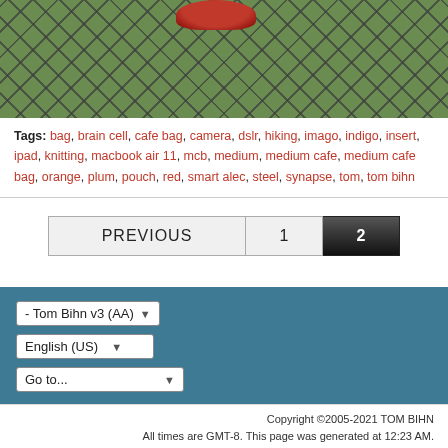[Figure (photo): Photo of a mesh/net bag with a dark red object visible at top, green foliage visible through the mesh netting]
Tags: bag, brain cell, cafe bag, camera, dslr, hiking, imago, indigo, insert, ipad, knitting, macbook air 11, mcb, medium, medium cafe, medium cafe bag, orange, plum, pouch, red, smart alec, steel, synapse, tom, tom bihn
PREVIOUS  1  2
- Tom Bihn v3 (AA) ▼
English (US) ▼
Go to... ▼
Copyright ©2005-2021 TOM BIHN
All times are GMT-8. This page was generated at 12:23 AM.